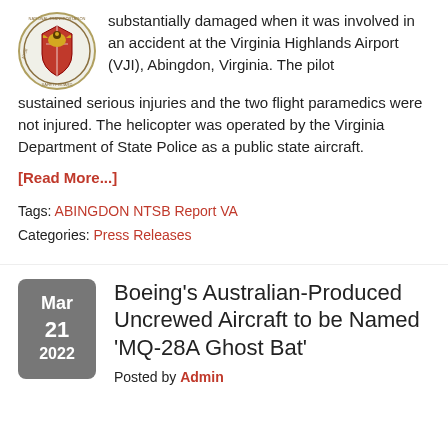[Figure (logo): NTSB National Transportation Safety Board seal/logo]
substantially damaged when it was involved in an accident at the Virginia Highlands Airport (VJI), Abingdon, Virginia. The pilot sustained serious injuries and the two flight paramedics were not injured. The helicopter was operated by the Virginia Department of State Police as a public state aircraft.
[Read More...]
Tags: ABINGDON NTSB Report VA
Categories: Press Releases
Mar 21 2022
Boeing's Australian-Produced Uncrewed Aircraft to be Named 'MQ-28A Ghost Bat'
Posted by Admin